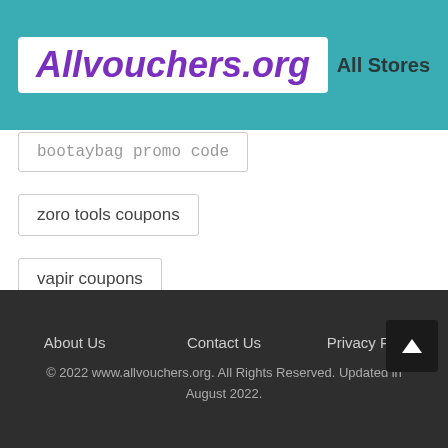Allvouchers.org | All Stores
bootaybag promo code
zoro tools coupons
vapir coupons
bluealphagear coupons
About Us  Contact Us  Privacy Policy  © 2022 www.allvouchers.org. All Rights Reserved. Updated in August 2022.